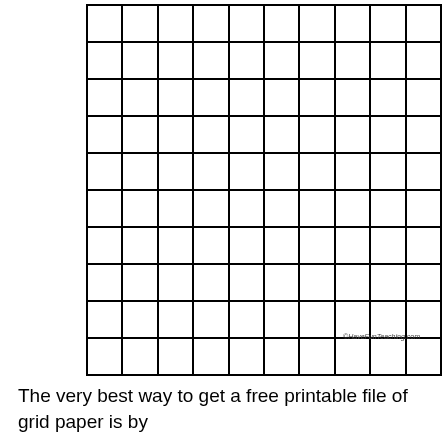[Figure (other): A 10x10 blank grid paper template with thick black borders on each cell, suitable for student use.]
©HaveFunTeaching.com
The very best way to get a free printable file of grid paper is by